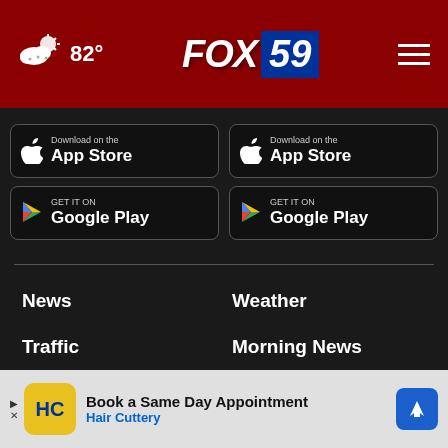FOX 59 | 82°
[Figure (screenshot): App Store download button (left)]
[Figure (screenshot): Google Play download button (left)]
[Figure (screenshot): App Store download button (right)]
[Figure (screenshot): Google Play download button (right)]
News
Weather
Traffic
Morning News
Sports
Indy Now
Jobs
Contact Us
Conte
[Figure (infographic): Hair Cuttery advertisement: Book a Same Day Appointment]